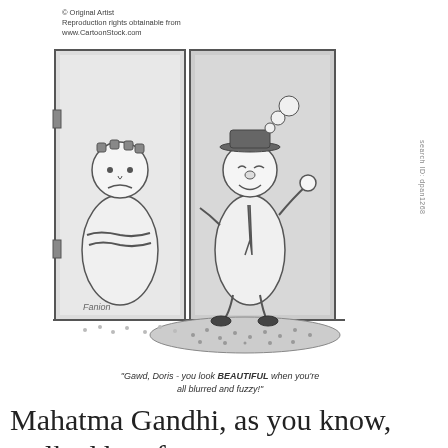[Figure (illustration): Black and white cartoon showing two characters at a doorway. One character (Doris) stands inside with arms crossed wearing a robe with curlers in hair. The other character (drunk/blurry-eyed) is at the door holding it open, with bubbles above head. Artist signature 'Fanion' visible in lower left of cartoon.]
"Gawd, Doris - you look BEAUTIFUL when you're all blurred and fuzzy!"
Mahatma Gandhi, as you know, walked barefoot